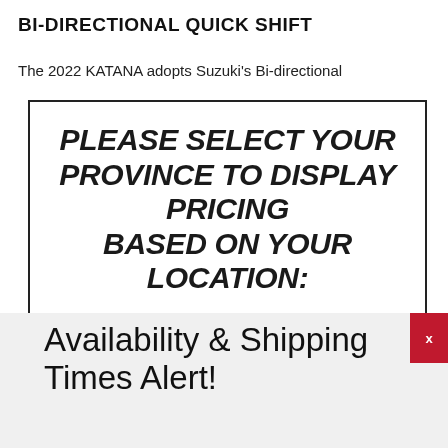BI-DIRECTIONAL QUICK SHIFT
The 2022 KATANA adopts Suzuki's Bi-directional
PLEASE SELECT YOUR PROVINCE TO DISPLAY PRICING BASED ON YOUR LOCATION:
Availability & Shipping Times Alert!
Due to increased demand and trucking industry delays, beyond Suzuki Canada's control, please allow additional time for your order.